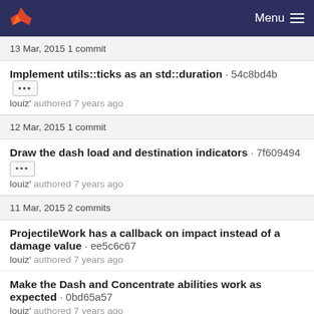Menu
13 Mar, 2015 1 commit
Implement utils::ticks as an std::duration · 54c8bd4b
louiz' authored 7 years ago
12 Mar, 2015 1 commit
Draw the dash load and destination indicators · 7f609494
louiz' authored 7 years ago
11 Mar, 2015 2 commits
ProjectileWork has a callback on impact instead of a damage value · ee5c6c67
louiz' authored 7 years ago
Make the Dash and Concentrate abilities work as expected · 0bd65a57
louiz' authored 7 years ago